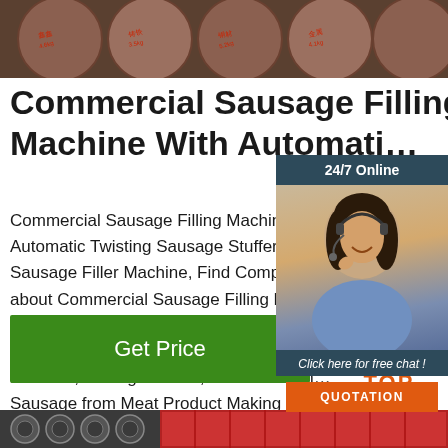[Figure (photo): Circular steel billets/logs with Chinese markings stacked outdoors]
Commercial Sausage Filling Machine With Automati…
Commercial Sausage Filling Machine W… Automatic Twisting Sausage Stuffer Mac… Sausage Filler Machine, Find Complete about Commercial Sausage Filling Mach… Automatic Twisting Sausage Stuffer Mac… Sausage Filler Machine,Sausage Filler Machine,Sausage Stuffer,Stuffer Machin… Sausage from Meat Product Making Mac… Supplier or Manufacturer-LUOHE GOLDEN …
[Figure (photo): Customer service representative wearing headset, 24/7 Online chat widget]
Get Price
[Figure (logo): TOP logo with orange dots arranged in triangle above the word TOP]
[Figure (photo): Bottom image showing metal tubes/pipes]